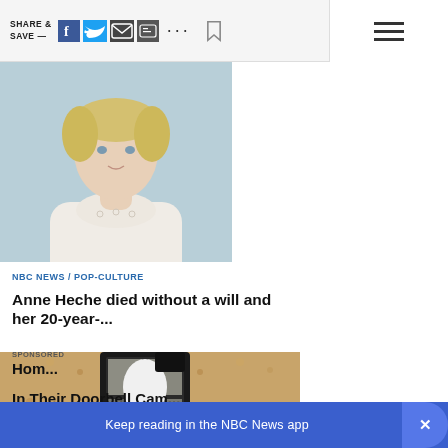SHARE & SAVE —
[Figure (photo): Portrait photo of a blonde woman with short hair wearing a white lace turtleneck top, against a light blue background]
NBC NEWS / POP-CULTURE
Anne Heche died without a will and her 20-year-...
[Figure (photo): Security camera mounted inside a vintage outdoor lantern fixture attached to a textured beige/tan stucco wall]
SPONSORED
Hom... ...g In Their Doorbell Came
Keep reading in the NBC News app